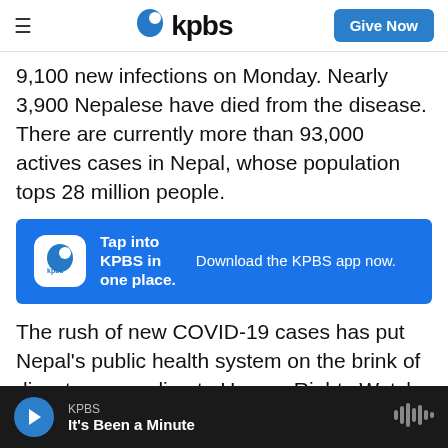kpbs | Give Now
9,100 new infections on Monday. Nearly 3,900 Nepalese have died from the disease. There are currently more than 93,000 actives cases in Nepal, whose population tops 28 million people.
[Figure (infographic): KPBS app advertisement banner: 'Tap into KPBS in one place. Download the KPBS app now.']
The rush of new COVID-19 cases has put Nepal's public health system on the brink of disaster, according to Human Rights Watch.
"Large volumes of oxygen equipment and other medical supplies are urgently needed to avert a
KPBS | It's Been a Minute